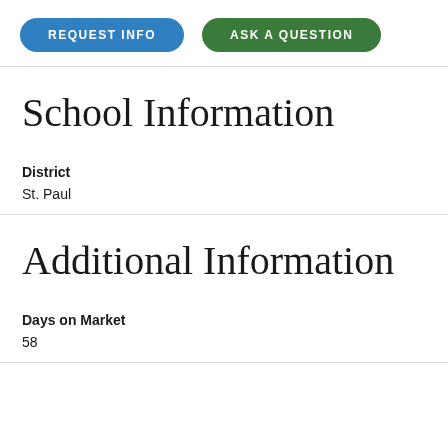[Figure (other): Two buttons: REQUEST INFO (blue rounded) and ASK A QUESTION (green rounded)]
School Information
District
St. Paul
Additional Information
Days on Market
58